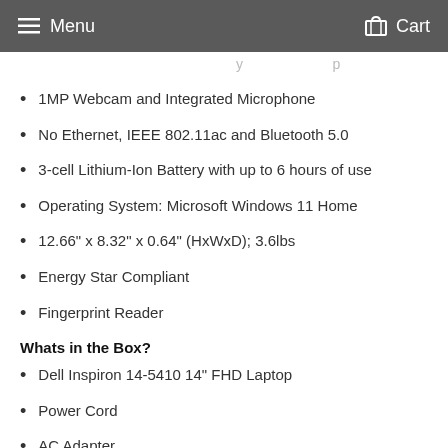Menu   Cart
1MP Webcam and Integrated Microphone
No Ethernet, IEEE 802.11ac and Bluetooth 5.0
3-cell Lithium-Ion Battery with up to 6 hours of use
Operating System: Microsoft Windows 11 Home
12.66" x 8.32" x 0.64" (HxWxD); 3.6lbs
Energy Star Compliant
Fingerprint Reader
Whats in the Box?
Dell Inspiron 14-5410 14" FHD Laptop
Power Cord
AC Adapter